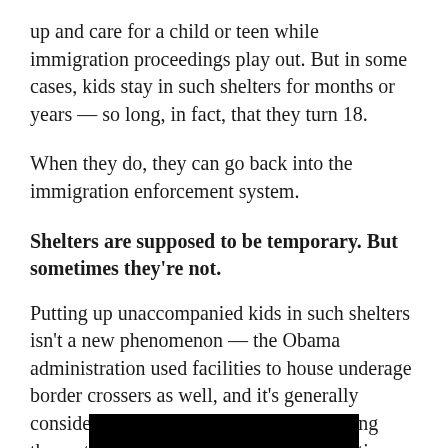up and care for a child or teen while immigration proceedings play out. But in some cases, kids stay in such shelters for months or years — so long, in fact, that they turn 18.
When they do, they can go back into the immigration enforcement system.
Shelters are supposed to be temporary. But sometimes they're not.
Putting up unaccompanied kids in such shelters isn't a new phenomenon — the Obama administration used facilities to house underage border crossers as well, and it's generally considered a better alternative than keeping them at Customs and Border Patrol facilities while they wait.
[Figure (other): Black bar/image at the bottom of the page, partially visible]